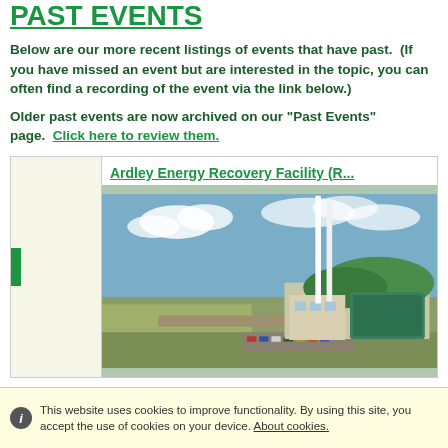PAST EVENTS
Below are our more recent listings of events that have past.  (If you have missed an event but are interested in the topic, you can often find a recording of the event via the link below.)
Older past events are now archived on our "Past Events" page.  Click here to review them.
Ardley Energy Recovery Facility (R...
[Figure (photo): Aerial photograph of the Ardley Energy Recovery Facility showing a modern building with green curved roof elements and two tall white chimneys/stacks against a sky backdrop, surrounded by open land and a parking area.]
This website uses cookies to improve functionality. By using this site, you accept the use of cookies on your device. About cookies.